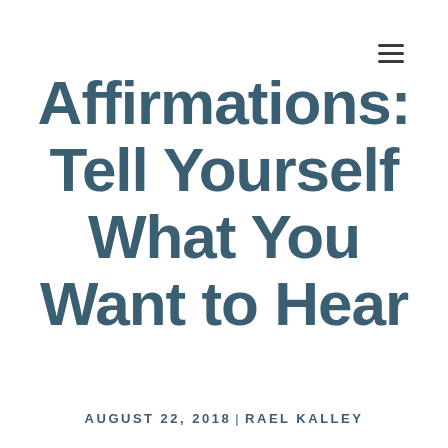≡
Affirmations: Tell Yourself What You Want to Hear
AUGUST 22, 2018 | RAEL KALLEY